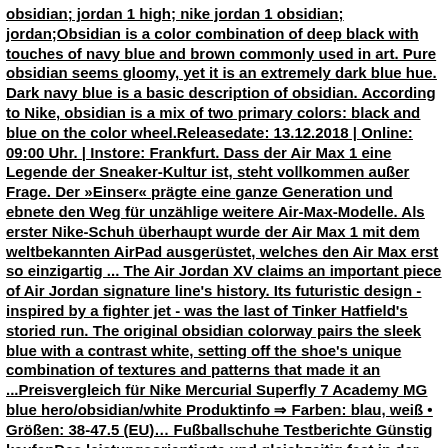obsidian; jordan 1 high; nike jordan 1 obsidian; jordan;Obsidian is a color combination of deep black with touches of navy blue and brown commonly used in art. Pure obsidian seems gloomy, yet it is an extremely dark blue hue. Dark navy blue is a basic description of obsidian. According to Nike, obsidian is a mix of two primary colors: black and blue on the color wheel.Releasedate: 13.12.2018 | Online: 09:00 Uhr. | Instore: Frankfurt. Dass der Air Max 1 eine Legende der Sneaker-Kultur ist, steht vollkommen außer Frage. Der »Einser« prägte eine ganze Generation und ebnete den Weg für unzählige weitere Air-Max-Modelle. Als erster Nike-Schuh überhaupt wurde der Air Max 1 mit dem weltbekannten AirPad ausgerüstet, welches den Air Max erst so einzigartig ... The Air Jordan XV claims an important piece of Air Jordan signature line's history. Its futuristic design - inspired by a fighter jet - was the last of Tinker Hatfield's storied run. The original obsidian colorway pairs the sleek blue with a contrast white, setting off the shoe's unique combination of textures and patterns that made it an ...Preisvergleich für Nike Mercurial Superfly 7 Academy MG blue hero/obsidian/white Produktinfo ⇒ Farben: blau, weiß • Größen: 38-47.5 (EU)… Fußballschuhe Testberichte Günstig kaufenDas leistungsorientierte und gleichzeitig fest in der Nike DNA verwurzelte Nike Dri-FIT ADV Vapor Oberteil kombiniert sehr atmungsaktives, elastisches Material mit einem 26-Grad-Chevron-Design, das